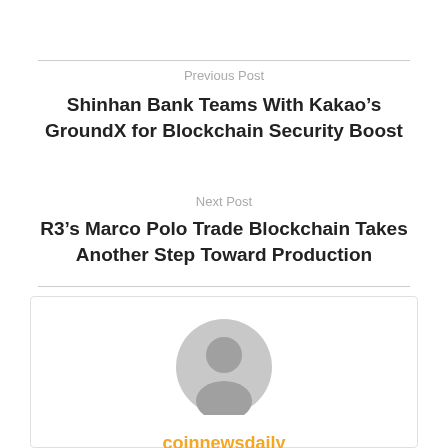Previous Post
Shinhan Bank Teams With Kakao’s GroundX for Blockchain Security Boost
Next Post
R3’s Marco Polo Trade Blockchain Takes Another Step Toward Production
[Figure (illustration): Generic user/author avatar icon - grey circular silhouette of a person]
coinnewsdaily
CoinNewsDaily.com is an online Crypto Coin News